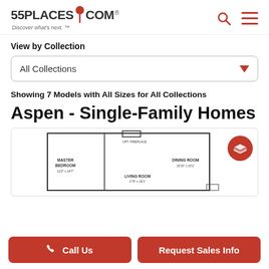55PLACES.COM Discover what's next.
View by Collection
All Collections
Showing 7 Models with All Sizes for All Collections
Aspen - Single-Family Homes
[Figure (engineering-diagram): Floor plan showing Master Bedroom, Living Room, Dining Room, and fireplace layout]
Call Us
Request Sales Info